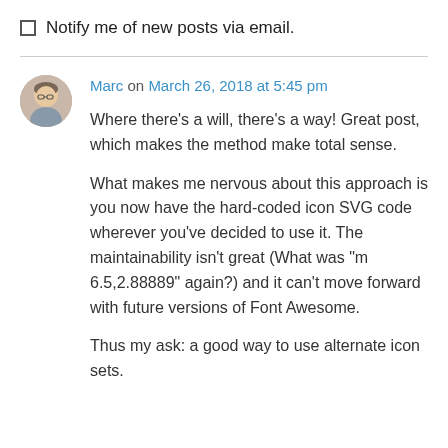Notify me of new posts via email.
Marc on March 26, 2018 at 5:45 pm
Where there’s a will, there’s a way! Great post, which makes the method make total sense.
What makes me nervous about this approach is you now have the hard-coded icon SVG code wherever you’ve decided to use it. The maintainability isn’t great (What was “m 6.5,2.88889” again?) and it can’t move forward with future versions of Font Awesome.
Thus my ask: a good way to use alternate icon sets.